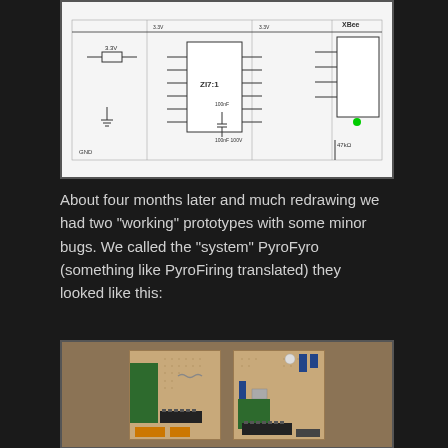[Figure (schematic): Electronic circuit schematic diagram showing components including resistors, capacitors, an IC chip (ZI7:1), and an XBee module with interconnecting wires on white background]
About four months later and much redrawing we had two "working" prototypes with some minor bugs. We called the "system" PyroFyro (something like PyroFiring translated) they looked like this:
[Figure (photo): Photograph of two handmade prototype PCB boards (PyroFyro prototypes) on a wooden surface. Left board has red components, green connector strips, an IC socket, and orange terminal blocks. Right board has blue capacitors, a white button, green connector strips, and an IC socket.]